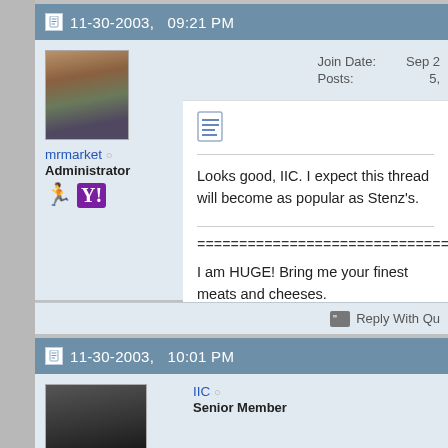11-30-2003,   09:21 PM
mrmarket  Administrator
| Join Date: | Sep 2 |
| --- | --- |
| Posts: | 5, |
[Figure (other): Note/document icon]
Looks good, IIC. I expect this thread will become as popular as Stenz's.
==============================

I am HUGE! Bring me your finest meats and cheeses.

- $$$MR. MARKET$$$
Reply With Qu
11-30-2003,   10:01 PM
IIC  Senior Member